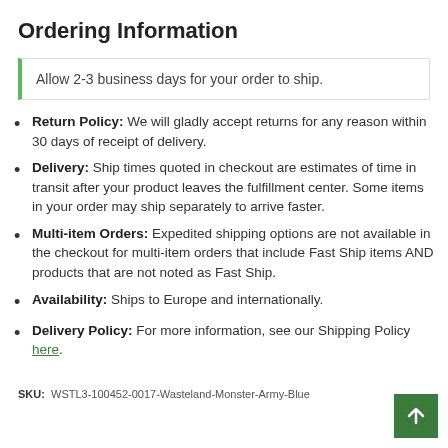Ordering Information
Allow 2-3 business days for your order to ship.
Return Policy: We will gladly accept returns for any reason within 30 days of receipt of delivery.
Delivery: Ship times quoted in checkout are estimates of time in transit after your product leaves the fulfillment center. Some items in your order may ship separately to arrive faster.
Multi-item Orders: Expedited shipping options are not available in the checkout for multi-item orders that include Fast Ship items AND products that are not noted as Fast Ship.
Availability: Ships to Europe and internationally.
Delivery Policy: For more information, see our Shipping Policy here.
SKU: WSTL3-100452-0017-Wasteland-Monster-Army-Blue